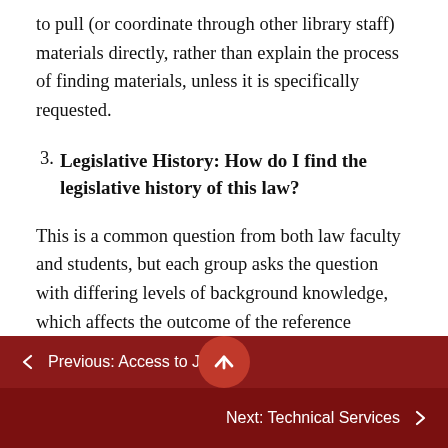to pull (or coordinate through other library staff) materials directly, rather than explain the process of finding materials, unless it is specifically requested.
3. Legislative History: How do I find the legislative history of this law?
This is a common question from both law faculty and students, but each group asks the question with differing levels of background knowledge, which affects the outcome of the reference interview. For students, there tends to be a greater misunderstanding of what legislative history is, when it is needed, and how to find it. It is critical to conduct a thorough reference interview to
← Previous: Access to Justice
Next: Technical Services →